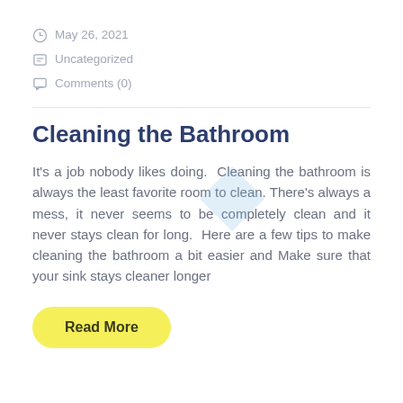May 26, 2021
Uncategorized
Comments (0)
Cleaning the Bathroom
It's a job nobody likes doing.  Cleaning the bathroom is always the least favorite room to clean. There's always a mess, it never seems to be completely clean and it never stays clean for long.  Here are a few tips to make cleaning the bathroom a bit easier and Make sure that your sink stays cleaner longer
Read More